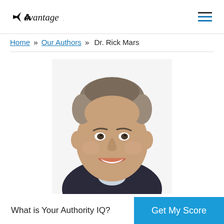Advantage [logo] [hamburger menu]
Home » Our Authors » Dr. Rick Mars
[Figure (photo): Professional headshot of Dr. Rick Mars, a middle-aged man with short curly grey hair, smiling, wearing a dark suit jacket with a light collared shirt, white background.]
What is Your Authority IQ?
Get My Score